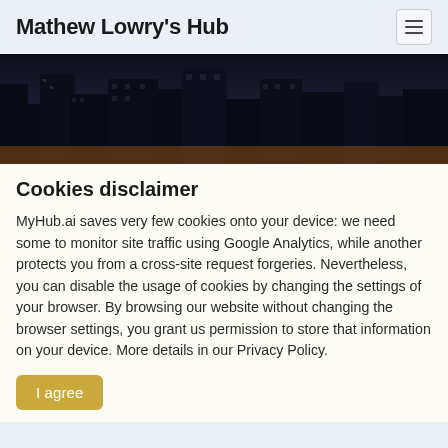Mathew Lowry's Hub
[Figure (photo): Night cityscape with dark skyscrapers silhouetted against a warm amber and orange horizon glow]
Cookies disclaimer
MyHub.ai saves very few cookies onto your device: we need some to monitor site traffic using Google Analytics, while another protects you from a cross-site request forgeries. Nevertheless, you can disable the usage of cookies by changing the settings of your browser. By browsing our website without changing the browser settings, you grant us permission to store that information on your device. More details in our Privacy Policy.